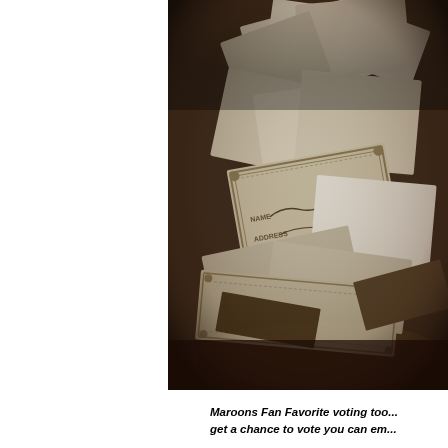[Figure (photo): A sepia-toned photograph of a bowl or container filled with folded papers, envelopes, and documents including what appears to be ballot slips or entry forms with 'NAME' and 'ADDRESS' fields visible. The image has a vignette effect.]
Maroons Fan Favorite voting too... get a chance to vote you can em...